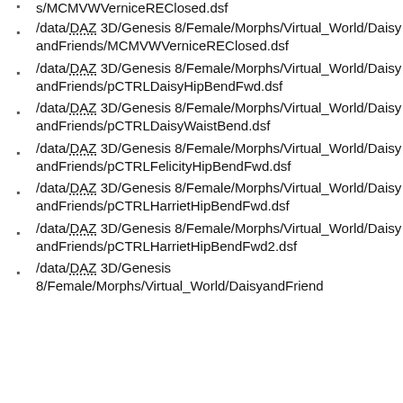s/MCMVWVerniceREClosed.dsf
/data/DAZ 3D/Genesis 8/Female/Morphs/Virtual_World/DaisyandFriends/MCMVWVerniceREClosed.dsf
/data/DAZ 3D/Genesis 8/Female/Morphs/Virtual_World/DaisyandFriends/pCTRLDaisyHipBendFwd.dsf
/data/DAZ 3D/Genesis 8/Female/Morphs/Virtual_World/DaisyandFriends/pCTRLDaisyWaistBend.dsf
/data/DAZ 3D/Genesis 8/Female/Morphs/Virtual_World/DaisyandFriends/pCTRLFelicityHipBendFwd.dsf
/data/DAZ 3D/Genesis 8/Female/Morphs/Virtual_World/DaisyandFriends/pCTRLHarrietHipBendFwd.dsf
/data/DAZ 3D/Genesis 8/Female/Morphs/Virtual_World/DaisyandFriends/pCTRLHarrietHipBendFwd2.dsf
/data/DAZ 3D/Genesis 8/Female/Morphs/Virtual_World/DaisyandFriend...